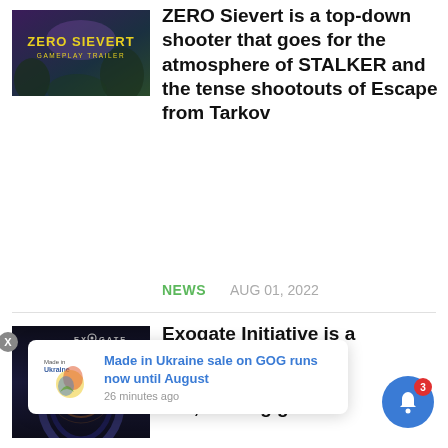[Figure (screenshot): ZERO SIEVERT GAMEPLAY TRAILER thumbnail — dark purple/teal game art with yellow title text]
ZERO Sievert is a top-down shooter that goes for the atmosphere of STALKER and the tense shootouts of Escape from Tarkov
NEWS   AUG 01, 2022
[Figure (screenshot): Exogate Initiative thumbnail — dark sci-fi art with EX-O-GATE logo and glowing orange orb/portal]
Exogate Initiative is a ... and base ... out the ... evil, looking good t...
Made in Ukraine sale on GOG runs now until August
26 minutes ago